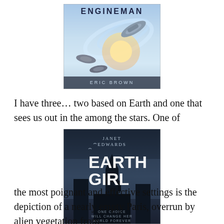[Figure (illustration): Book cover of 'Engineman' by Eric Brown, showing spaceships in a blue sky with light effects]
I have three… two based on Earth and one that sees us out in the among the stars. One of
[Figure (illustration): Book cover of 'Earth Girl' by Janet Edwards, showing a dark figure near a gothic building with text 'One choice will change her world forever']
the most poignant and effective settings is the depiction of a nearly empty Paris, overrun by alien vegetation from